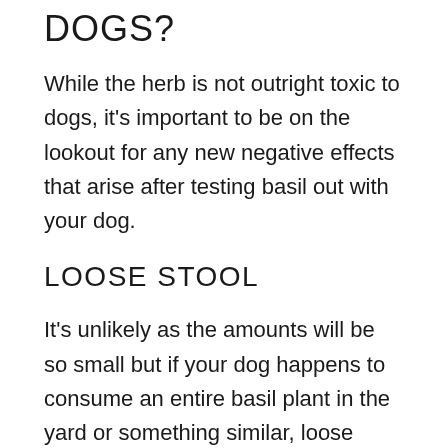DOGS?
While the herb is not outright toxic to dogs, it's important to be on the lookout for any new negative effects that arise after testing basil out with your dog.
LOOSE STOOL
It's unlikely as the amounts will be so small but if your dog happens to consume an entire basil plant in the yard or something similar, loose stool could become a problem.
The fiber in a basil plant is usually the culprit for this. Eating the too much basil fiber...